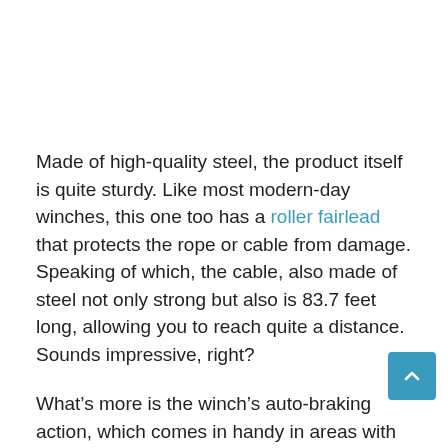Made of high-quality steel, the product itself is quite sturdy. Like most modern-day winches, this one too has a roller fairlead that protects the rope or cable from damage. Speaking of which, the cable, also made of steel not only strong but also is 83.7 feet long, allowing you to reach quite a distance.  Sounds impressive, right?
What’s more is the winch’s auto-braking action, which comes in handy in areas with slopes or areas. It also comes with a heavy-duty, rubberized remote switch.